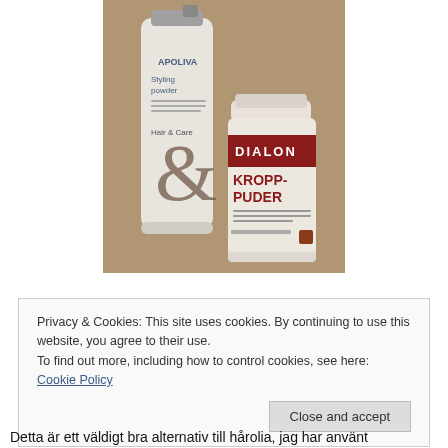[Figure (photo): Two hair/body powder products on a wooden surface: an APOLIVA Styling Powder (Hair & Care) aerosol can on the left, and a DIALON KROPP-PUDER (body powder) container on the right.]
Privacy & Cookies: This site uses cookies. By continuing to use this website, you agree to their use.
To find out more, including how to control cookies, see here: Cookie Policy
Close and accept
Detta är ett väldigt bra alternativ till hårolia, jag har använt